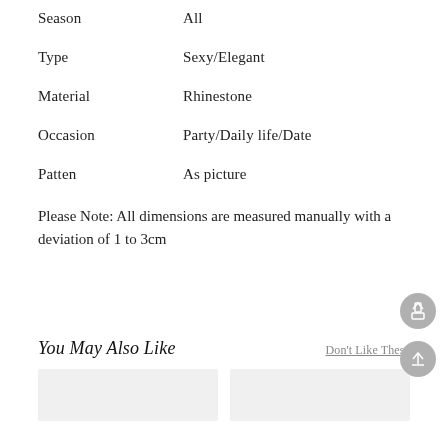| Attribute | Value |
| --- | --- |
| Season | All |
| Type | Sexy/Elegant |
| Material | Rhinestone |
| Occasion | Party/Daily life/Date |
| Patten | As picture |
Please Note: All dimensions are measured manually with a deviation of 1 to 3cm
You May Also Like
Don't Like These
[Figure (other): Two product image placeholders side by side]